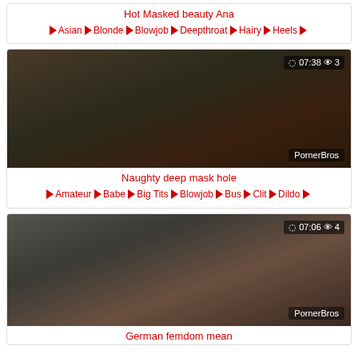Hot Masked beauty Ana
Asian  Blonde  Blowjob  Deepthroat  Hairy  Heels
[Figure (photo): Video thumbnail showing intimate scene, duration 07:38, 3 views, watermark PornerBros]
Naughty deep mask hole
Amateur  Babe  Big Tits  Blowjob  Bus  Clit  Dildo
[Figure (photo): Video thumbnail showing woman in black latex with masked man, duration 07:06, 4 views, watermark PornerBros]
German femdom mean